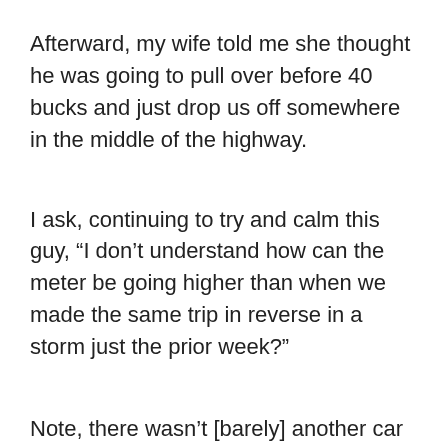Afterward, my wife told me she thought he was going to pull over before 40 bucks and just drop us off somewhere in the middle of the highway.
I ask, continuing to try and calm this guy, “I don’t understand how can the meter be going higher than when we made the same trip in reverse in a storm just the prior week?”
Note, there wasn’t [barely] another car on the road